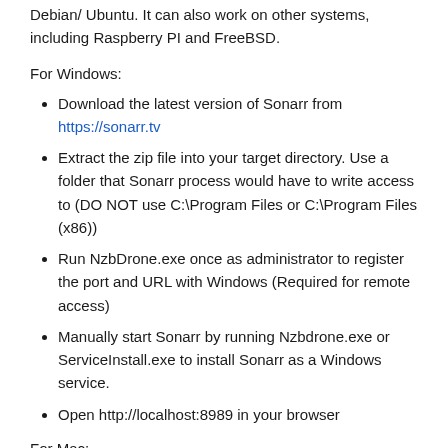Debian/ Ubuntu. It can also work on other systems, including Raspberry PI and FreeBSD.
For Windows:
Download the latest version of Sonarr from https://sonarr.tv
Extract the zip file into your target directory. Use a folder that Sonarr process would have to write access to (DO NOT use C:\Program Files or C:\Program Files (x86))
Run NzbDrone.exe once as administrator to register the port and URL with Windows (Required for remote access)
Manually start Sonarr by running Nzbdrone.exe or ServiceInstall.exe to install Sonarr as a Windows service.
Open http://localhost:8989 in your browser
For Mac: